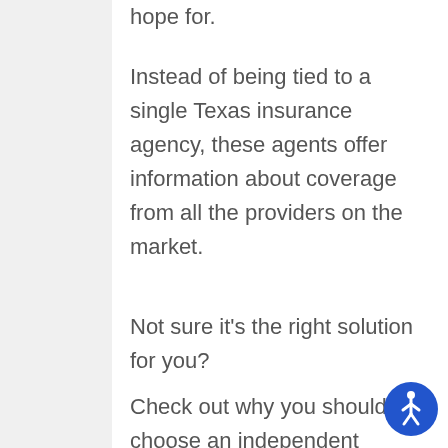hope for.
Instead of being tied to a single Texas insurance agency, these agents offer information about coverage from all the providers on the market.
Not sure it’s the right solution for you?
Check out why you should choose an independent agent